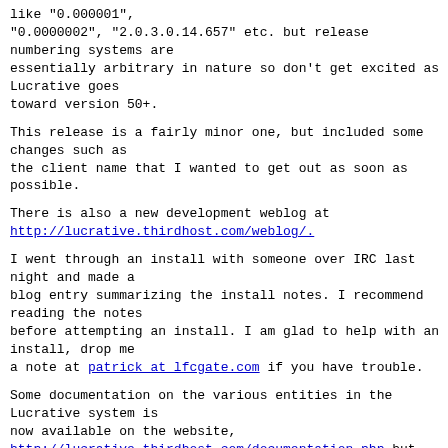like "0.000001",
"0.0000002", "2.0.3.0.14.657" etc. but release numbering systems are
essentially arbitrary in nature so don't get excited as Lucrative goes
toward version 50+.
This release is a fairly minor one, but included some changes such as
the client name that I wanted to get out as soon as possible.
There is also a new development weblog at
http://lucrative.thirdhost.com/weblog/.
I went through an install with someone over IRC last night and made a
blog entry summarizing the install notes. I recommend reading the notes
before attempting an install. I am glad to help with an install, drop me
a note at patrick at lfcgate.com if you have trouble.
Some documentation on the various entities in the Lucrative system is
now available on the website,
http://lucrative.thirdhost.com/documentation.php but more is needed and
coming.